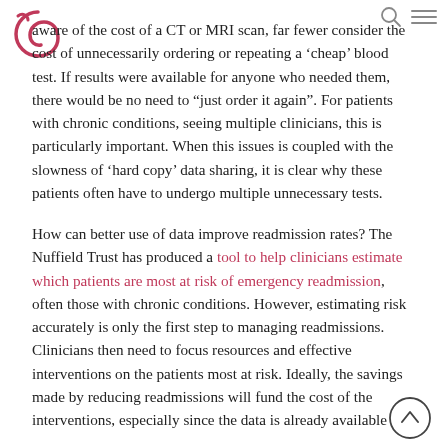[Navigation header with logo and icons]
aware of the cost of a CT or MRI scan, far fewer consider the cost of unnecessarily ordering or repeating a 'cheap' blood test. If results were available for anyone who needed them, there would be no need to "just order it again". For patients with chronic conditions, seeing multiple clinicians, this is particularly important. When this issues is coupled with the slowness of 'hard copy' data sharing, it is clear why these patients often have to undergo multiple unnecessary tests.
How can better use of data improve readmission rates? The Nuffield Trust has produced a tool to help clinicians estimate which patients are most at risk of emergency readmission, often those with chronic conditions. However, estimating risk accurately is only the first step to managing readmissions. Clinicians then need to focus resources and effective interventions on the patients most at risk. Ideally, the savings made by reducing readmissions will fund the cost of the interventions, especially since the data is already available